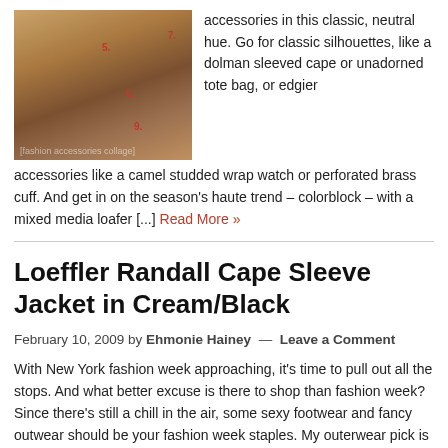[Figure (photo): Collage of camel/tan fashion accessories including boots, watch, bag, heels, and an outfit photo]
accessories in this classic, neutral hue. Go for classic silhouettes, like a dolman sleeved cape or unadorned tote bag, or edgier accessories like a camel studded wrap watch or perforated brass cuff. And get in on the season's haute trend – colorblock – with a mixed media loafer [...] Read More »
Loeffler Randall Cape Sleeve Jacket in Cream/Black
February 10, 2009 by Ehmonie Hainey — Leave a Comment
With New York fashion week approaching, it's time to pull out all the stops. And what better excuse is there to shop than fashion week? Since there's still a chill in the air, some sexy footwear and fancy outwear should be your fashion week staples. My outerwear pick is the Loeffler Randall Cape Sleeve Jacket. [...] Read More »